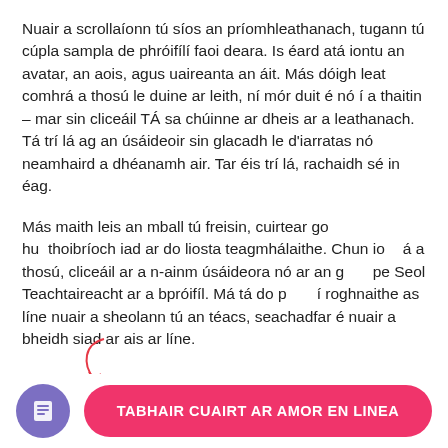Nuair a scrollaíonn tú síos an príomhleathanach, tugann tú cúpla sampla de phróifílí faoi deara. Is éard atá iontu an avatar, an aois, agus uaireanta an áit. Más dóigh leat comhrá a thosú le duine ar leith, ní mór duit é nó í a thaitin – mar sin cliceáil TÁ sa chúinne ar dheis ar a leathanach. Tá trí lá ag an úsáideoir sin glacadh le d'iarratas nó neamhaird a dhéanamh air. Tar éis trí lá, rachaidh sé in éag.
Más maith leis an mball tú freisin, cuirtear go huathoibríoch iad ar do liosta teagmhálaithe. Chun iomrá a thosú, cliceáil ar a n-ainm úsáideora nó ar an gcnaipe Seol Teachtaireacht ar a bpróifíl. Má tá do pháirtí roghnaithe as líne nuair a sheolann tú an téacs, seachadfar é nuair a bheidh siad ar ais ar líne.
[Figure (illustration): Hand-drawn annotation showing an arrow and '20%' label in red, overlaid on the second paragraph]
[Figure (illustration): Bottom bar with a purple circular icon containing a document/list icon, and a pink rounded button labeled 'TABHAIR CUAIRT AR AMOR EN LINEA']